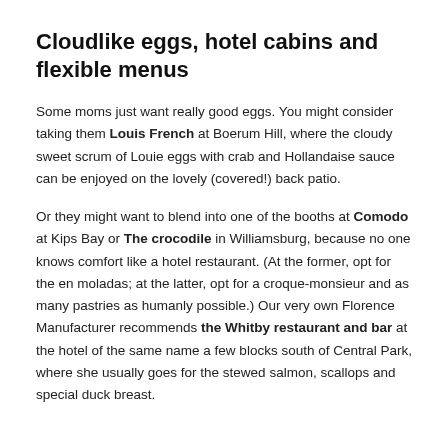Cloudlike eggs, hotel cabins and flexible menus
Some moms just want really good eggs. You might consider taking them Louis French at Boerum Hill, where the cloudy sweet scrum of Louie eggs with crab and Hollandaise sauce can be enjoyed on the lovely (covered!) back patio.
Or they might want to blend into one of the booths at Comodo at Kips Bay or The crocodile in Williamsburg, because no one knows comfort like a hotel restaurant. (At the former, opt for the en moladas; at the latter, opt for a croque-monsieur and as many pastries as humanly possible.) Our very own Florence Manufacturer recommends the Whitby restaurant and bar at the hotel of the same name a few blocks south of Central Park, where she usually goes for the stewed salmon, scallops and special duck breast.